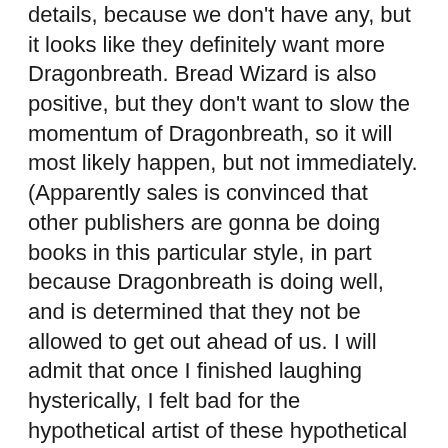details, because we don't have any, but it looks like they definitely want more Dragonbreath. Bread Wizard is also positive, but they don't want to slow the momentum of Dragonbreath, so it will most likely happen, but not immediately. (Apparently sales is convinced that other publishers are gonna be doing books in this particular style, in part because Dragonbreath is doing well, and is determined that they not be allowed to get out ahead of us. I will admit that once I finished laughing hysterically, I felt bad for the hypothetical artist of these hypothetical books. I would like to meet them someday. We could weep in each other's arms for awhile.)
I hear back early next week with hard numbers on how many and how much, but hopefully I'll be gainfully employed for another year at least.
It occurs to me that there may actually come a day when a publisher dangles a check in front of me for sums that break my heart* and I wipe the drool from my chin and say, in broken tones, “I’m sorry, I’m